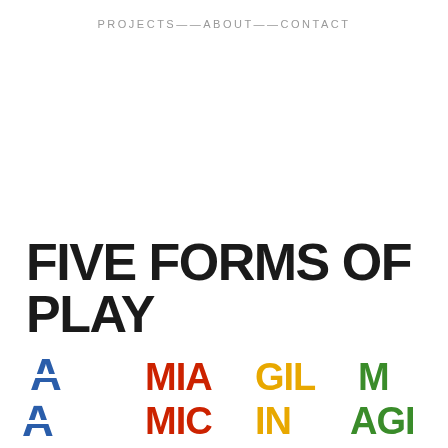PROJECTS——ABOUT——CONTACT
FIVE FORMS OF PLAY
[Figure (logo): Colorful stencil-style letters in blue, red, yellow, and green arranged in overlapping rows at the bottom of the page, representing logos or typographic elements for 'Five Forms of Play']